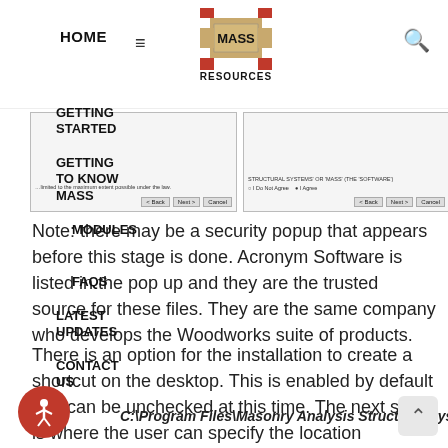HOME | MASS RESOURCES | GETTING STARTED | GETTING TO KNOW MASS | MODULES | FAQS | LATEST UPDATES | CONTACT US
[Figure (screenshot): Two installer dialog screenshots side by side showing Next and Cancel buttons]
Note: there may be a security popup that appears before this stage is done. Acronym Software is listed in the pop up and they are the trusted source for these files. They are the same company who develops the Woodworks suite of products.
There is an option for the installation to create a shortcut on the desktop. This is enabled by default and can be unchecked at this time. The next stage is where the user can specify the location MASS™ will be placed. By default the folder is placed in
C:\Program Files\Masonry Analysis Structural Systems Ve 4.0